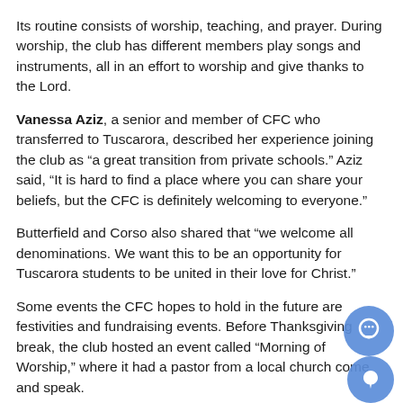Its routine consists of worship, teaching, and prayer. During worship, the club has different members play songs and instruments, all in an effort to worship and give thanks to the Lord.
Vanessa Aziz, a senior and member of CFC who transferred to Tuscarora, described her experience joining the club as “a great transition from private schools.” Aziz said, “It is hard to find a place where you can share your beliefs, but the CFC is definitely welcoming to everyone.”
Butterfield and Corso also shared that “we welcome all denominations. We want this to be an opportunity for Tuscarora students to be united in their love for Christ.”
Some events the CFC hopes to hold in the future are festivities and fundraising events. Before Thanksgiving break, the club hosted an event called “Morning of Worship,” where it had a pastor from a local church come and speak.
The CFC looks forward to having other guest speakers, like members from the local Fellowship of Christian Athletes, a group the CFC